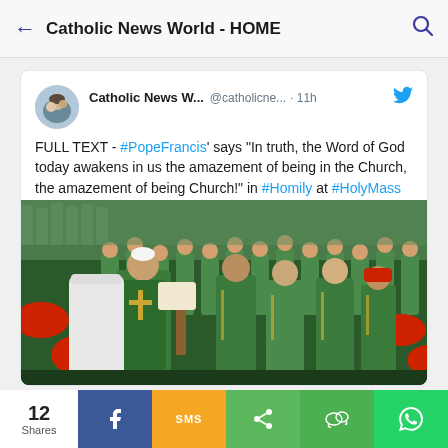← Catholic News World - HOME 🔍
Catholic News W... @catholicne... · 11h
FULL TEXT - #PopeFrancis' says "In truth, the Word of God today awakens in us the amazement of being in the Church, the amazement of being Church!" in #Homily at #HolyMass with New #Cardinals - VIDEO from #Vatican
catholicnewsworld.com/2022/08/full-t…
[Figure (photo): Photo of Pope Francis in green vestments reading at the altar, surrounded by clergy in green vestments and cardinals in red at a Holy Mass]
12 Shares | Facebook | SMS | Share | WeChat | WhatsApp